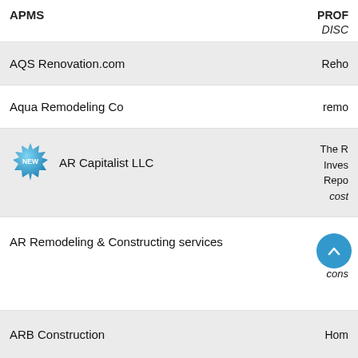APMS
PROF
DISC
AQS Renovation.com
Reho
Aqua Remodeling Co
remo
AR Capitalist LLC
The R
Inves
Repo
cost
AR Remodeling & Constructing services
Rem
plum
cons
ARB Construction
Hom